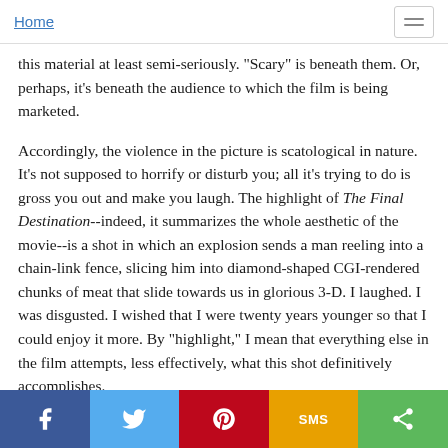Home
this material at least semi-seriously. "Scary" is beneath them. Or, perhaps, it's beneath the audience to which the film is being marketed.
Accordingly, the violence in the picture is scatological in nature. It's not supposed to horrify or disturb you; all it's trying to do is gross you out and make you laugh. The highlight of The Final Destination--indeed, it summarizes the whole aesthetic of the movie--is a shot in which an explosion sends a man reeling into a chain-link fence, slicing him into diamond-shaped CGI-rendered chunks of meat that slide towards us in glorious 3-D. I laughed. I was disgusted. I wished that I were twenty years younger so that I could enjoy it more. By "highlight," I mean that everything else in the film attempts, less effectively, what this shot definitively accomplishes.
For those wanting to review with The Final Destination, the i...